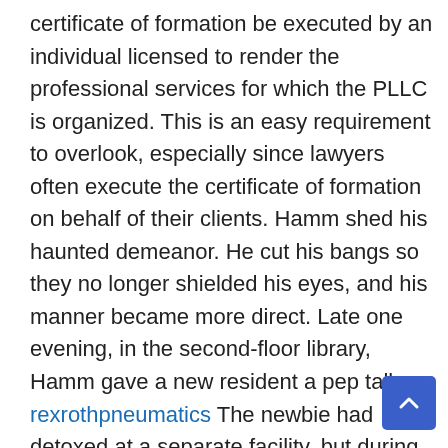certificate of formation be executed by an individual licensed to render the professional services for which the PLLC is organized. This is an easy requirement to overlook, especially since lawyers often execute the certificate of formation on behalf of their clients. Hamm shed his haunted demeanor. He cut his bangs so they no longer shielded his eyes, and his manner became more direct. Late one evening, in the second-floor library, Hamm gave a new resident a pep talk. rexrothpneumatics The newbie had detoxed at a separate facility, but during his three-week wait to enter Grateful Life he had relapsed. He was still in an early phase of the program, sleeping in a bunk bed in a communal room, and declaring that being in treatment was the greatest thing ever.